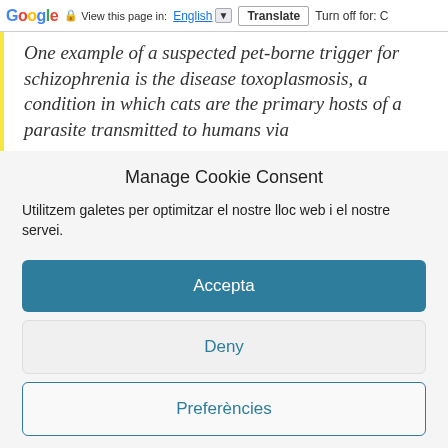Google | View this page in: English [▼] | Translate | Turn off for: C
One example of a suspected pet-borne trigger for schizophrenia is the disease toxoplasmosis, a condition in which cats are the primary hosts of a parasite transmitted to humans via
Manage Cookie Consent
Utilitzem galetes per optimitzar el nostre lloc web i el nostre servei.
Accepta
Deny
Preferències